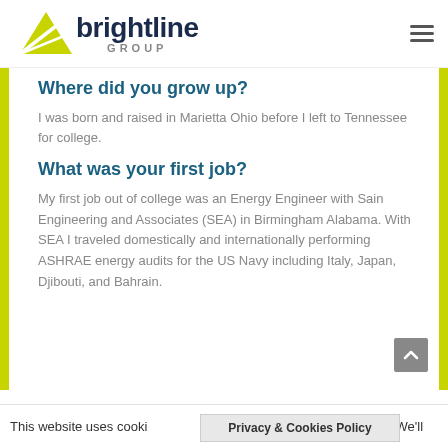[Figure (logo): Brightline Group logo with yellow triangle/sail icon and dark navy text]
Where did you grow up?
I was born and raised in Marietta Ohio before I left to Tennessee for college.
What was your first job?
My first job out of college was an Energy Engineer with Sain Engineering and Associates (SEA) in Birmingham Alabama. With SEA I traveled domestically and internationally performing ASHRAE energy audits for the US Navy including Italy, Japan, Djibouti, and Bahrain.
This website uses cookies to improve your experience. We'll